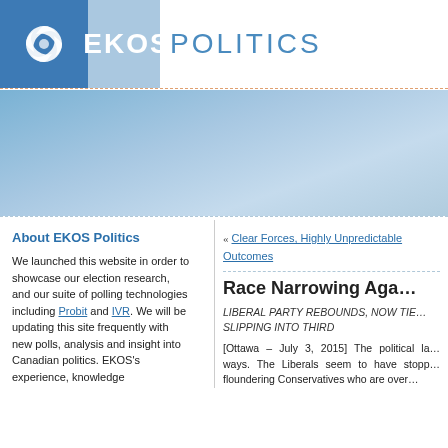[Figure (logo): EKOS Politics logo with blue square containing a circular swirl emblem, light blue rectangle, and 'EKOS POLITICS' text]
[Figure (photo): Blue textured banner/header image with gradient effect]
About EKOS Politics
We launched this website in order to showcase our election research, and our suite of polling technologies including Probit and IVR. We will be updating this site frequently with new polls, analysis and insight into Canadian politics. EKOS's experience, knowledge
« Clear Forces, Highly Unpredictable Outcomes
Race Narrowing Aga…
LIBERAL PARTY REBOUNDS, NOW TIE… SLIPPING INTO THIRD
[Ottawa – July 3, 2015] The political la… ways. The Liberals seem to have stopp… floundering Conservatives who are over…